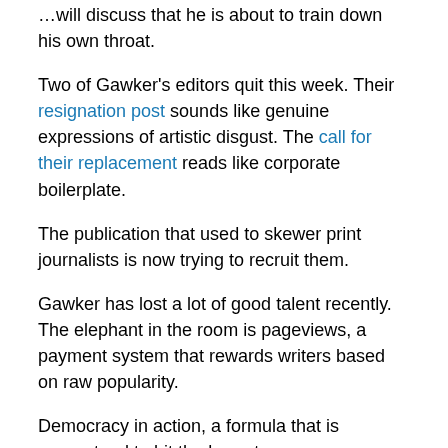…will discuss that he is about to train down his own throat.
Two of Gawker's editors quit this week. Their resignation post sounds like genuine expressions of artistic disgust. The call for their replacement reads like corporate boilerplate.
The publication that used to skewer print journalists is now trying to recruit them.
Gawker has lost a lot of good talent recently. The elephant in the room is pageviews, a payment system that rewards writers based on raw popularity.
Democracy in action, a formula that is guarenteed to hit the lowest common denominator, at the expense of everything that made the publication great.
And it's not just happening at Gawker. Our entire media